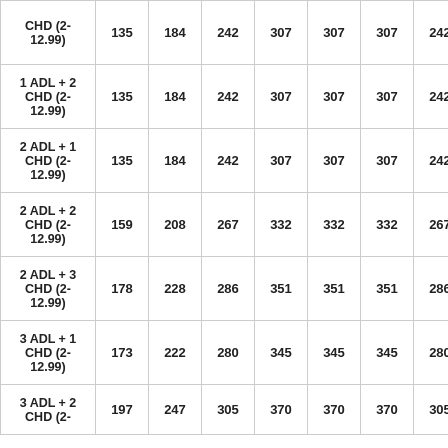| CHD (2-12.99) | 135 | 184 | 242 | 307 | 307 | 307 | 242 | 1… |
| 1 ADL + 2 CHD (2-12.99) | 135 | 184 | 242 | 307 | 307 | 307 | 242 | 1… |
| 2 ADL + 1 CHD (2-12.99) | 135 | 184 | 242 | 307 | 307 | 307 | 242 | 1… |
| 2 ADL + 2 CHD (2-12.99) | 159 | 208 | 267 | 332 | 332 | 332 | 267 | 2… |
| 2 ADL + 3 CHD (2-12.99) | 178 | 228 | 286 | 351 | 351 | 351 | 286 | 2… |
| 3 ADL + 1 CHD (2-12.99) | 173 | 222 | 280 | 345 | 345 | 345 | 280 | 2… |
| 3 ADL + 2 CHD (2- | 197 | 247 | 305 | 370 | 370 | 370 | 305 | … |